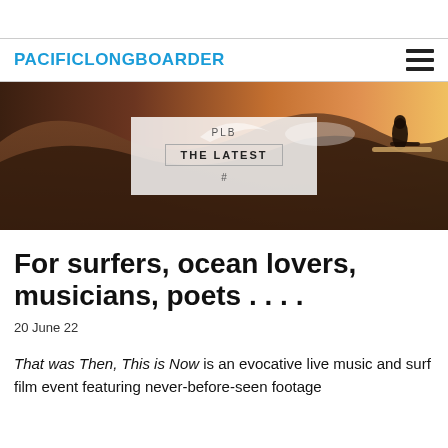PACIFIC LONGBOARDER
[Figure (photo): A surfer riding a large wave at sunset/golden hour, with a 'PLB / THE LATEST / #' overlay panel in the center of the image.]
For surfers, ocean lovers, musicians, poets . . . .
20 June 22
That was Then, This is Now is an evocative live music and surf film event featuring never-before-seen footage